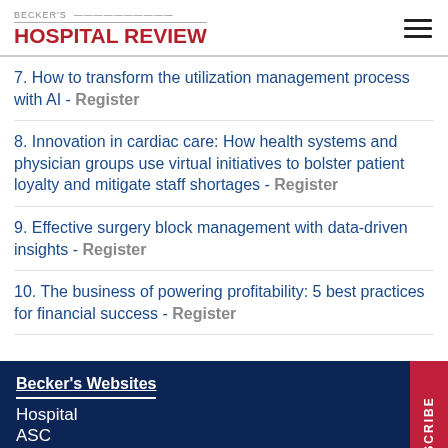BECKER'S HOSPITAL REVIEW
7. How to transform the utilization management process with AI - Register
8. Innovation in cardiac care: How health systems and physician groups use virtual initiatives to bolster patient loyalty and mitigate staff shortages - Register
9. Effective surgery block management with data-driven insights - Register
10. The business of powering profitability: 5 best practices for financial success - Register
Becker's Websites
Hospital
ASC
Spine
Clinical
Health IT